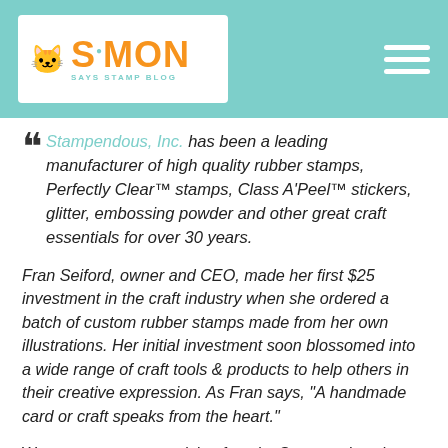[Figure (logo): Simon Says Stamp Blog logo on teal/mint header bar with hamburger menu icon on the right]
Stampendous, Inc. has been a leading manufacturer of high quality rubber stamps, Perfectly Clear™ stamps, Class A'Peel™ stickers, glitter, embossing powder and other great craft essentials for over 30 years.
Fran Seiford, owner and CEO, made her first $25 investment in the craft industry when she ordered a batch of custom rubber stamps made from her own illustrations. Her initial investment soon blossomed into a wide range of craft tools & products to help others in their creative expression. As Fran says, "A handmade card or craft speaks from the heart."
We want everyone to pick a favorite Stampendous item and try it, so in the spirit of that, we are offering a limited time 20% discount off all Stampendous products when you use